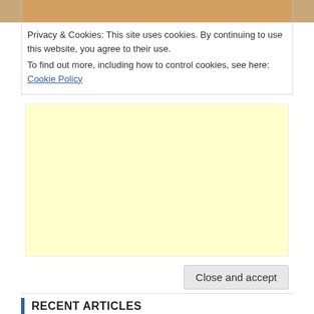[Figure (photo): Top portion of a photo showing a person, with wooden background visible. Cropped strip at top of page.]
Privacy & Cookies: This site uses cookies. By continuing to use this website, you agree to their use.
To find out more, including how to control cookies, see here: Cookie Policy
[Figure (other): Yellow/cream colored advertisement placeholder area]
Close and accept
RECENT ARTICLES